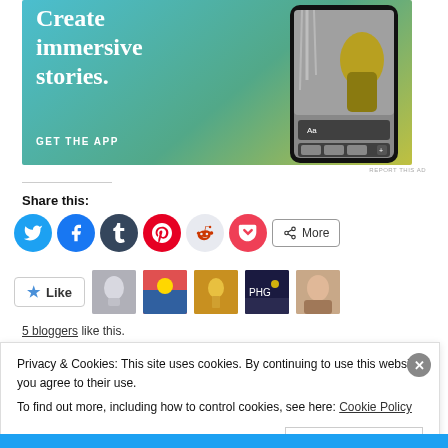[Figure (screenshot): App advertisement banner with teal-to-yellow gradient background showing 'Create immersive stories.' text and 'GET THE APP' call to action, with a phone showing a waterfall photo on the right side.]
REPORT THIS AD
Share this:
[Figure (infographic): Social sharing buttons row: Twitter (blue), Facebook (blue), Tumblr (dark), Pinterest (red), Reddit (light), Pocket (red), and a More button.]
[Figure (infographic): Like button with star icon followed by 5 blogger avatar thumbnails.]
5 bloggers like this.
Privacy & Cookies: This site uses cookies. By continuing to use this website, you agree to their use.
To find out more, including how to control cookies, see here: Cookie Policy
Close and accept